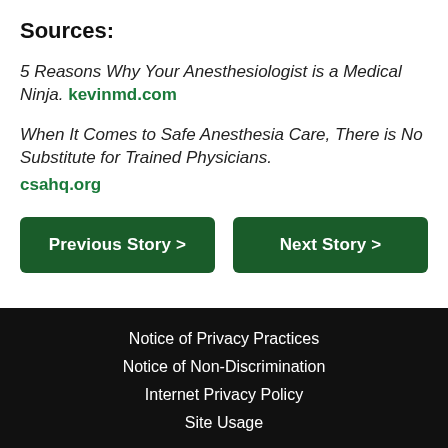Sources:
5 Reasons Why Your Anesthesiologist is a Medical Ninja. kevinmd.com
When It Comes to Safe Anesthesia Care, There is No Substitute for Trained Physicians. csahq.org
Previous Story >
Next Story >
Notice of Privacy Practices
Notice of Non-Discrimination
Internet Privacy Policy
Site Usage